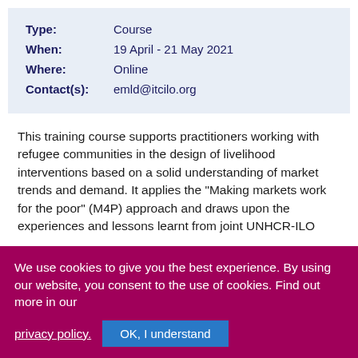Type:  Course
When:  19 April - 21 May 2021
Where:  Online
Contact(s):  emld@itcilo.org
This training course supports practitioners working with refugee communities in the design of livelihood interventions based on a solid understanding of market trends and demand. It applies the "Making markets work for the poor" (M4P) approach and draws upon the experiences and lessons learnt from joint UNHCR-ILO
We use cookies to give you the best experience. By using our website, you consent to the use of cookies. Find out more in our privacy policy.
OK, I understand